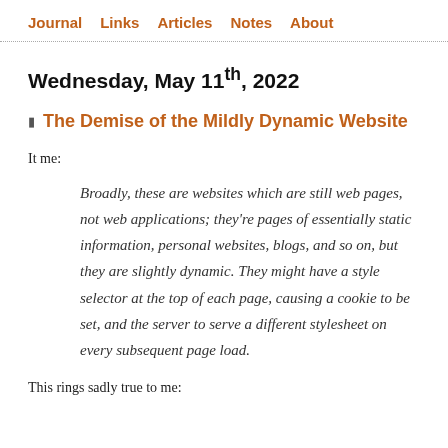Journal  Links  Articles  Notes  About
Wednesday, May 11th, 2022
The Demise of the Mildly Dynamic Website
It me:
Broadly, these are websites which are still web pages, not web applications; they're pages of essentially static information, personal websites, blogs, and so on, but they are slightly dynamic. They might have a style selector at the top of each page, causing a cookie to be set, and the server to serve a different stylesheet on every subsequent page load.
This rings sadly true to me: